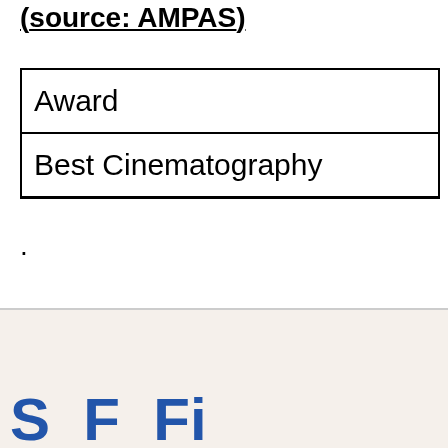(source: AMPAS)
| Award |
| --- |
| Best Cinematography |
.
S  F  Fi